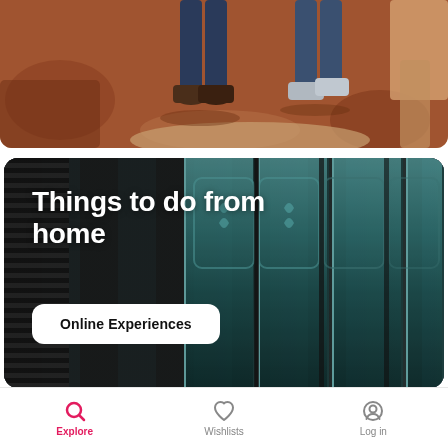[Figure (photo): Top portion of a photo showing people's legs and feet standing on reddish-brown sandy/rocky ground in a canyon]
[Figure (photo): Card with dark teal ornate door panels in background, with overlaid white bold text 'Things to do from home' and a white rounded button labeled 'Online Experiences']
Things to do from home
Online Experiences
Explore  Wishlists  Log in